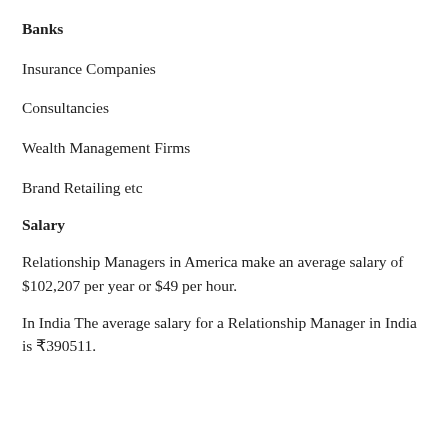Banks
Insurance Companies
Consultancies
Wealth Management Firms
Brand Retailing etc
Salary
Relationship Managers in America make an average salary of $102,207 per year or $49 per hour.
In India The average salary for a Relationship Manager in India is ₹390511.